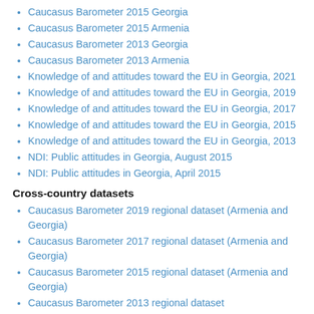Caucasus Barometer 2015 Georgia
Caucasus Barometer 2015 Armenia
Caucasus Barometer 2013 Georgia
Caucasus Barometer 2013 Armenia
Knowledge of and attitudes toward the EU in Georgia, 2021
Knowledge of and attitudes toward the EU in Georgia, 2019
Knowledge of and attitudes toward the EU in Georgia, 2017
Knowledge of and attitudes toward the EU in Georgia, 2015
Knowledge of and attitudes toward the EU in Georgia, 2013
NDI: Public attitudes in Georgia, August 2015
NDI: Public attitudes in Georgia, April 2015
Cross-country datasets
Caucasus Barometer 2019 regional dataset (Armenia and Georgia)
Caucasus Barometer 2017 regional dataset (Armenia and Georgia)
Caucasus Barometer 2015 regional dataset (Armenia and Georgia)
Caucasus Barometer 2013 regional dataset
Time-series datasets
Knowledge of and attitudes toward the EU in Georgia time-